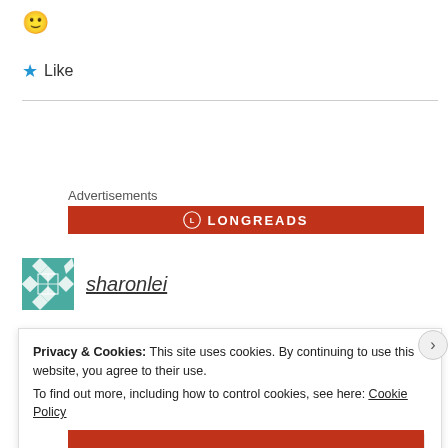[Figure (illustration): Yellow smiley face emoji icon]
★ Like
[Figure (illustration): Horizontal divider line]
Advertisements
[Figure (illustration): Red Longreads advertisement banner with logo]
[Figure (illustration): sharonlei avatar - teal and white geometric quilt pattern]
sharonlei
Privacy & Cookies: This site uses cookies. By continuing to use this website, you agree to their use.
To find out more, including how to control cookies, see here: Cookie Policy
Close and accept